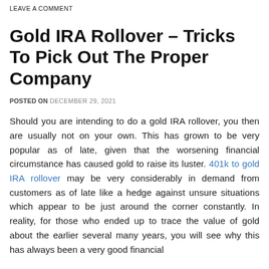LEAVE A COMMENT
Gold IRA Rollover – Tricks To Pick Out The Proper Company
POSTED ON DECEMBER 29, 2021
Should you are intending to do a gold IRA rollover, you then are usually not on your own. This has grown to be very popular as of late, given that the worsening financial circumstance has caused gold to raise its luster. 401k to gold IRA rollover may be very considerably in demand from customers as of late like a hedge against unsure situations which appear to be just around the corner constantly. In reality, for those who ended up to trace the value of gold about the earlier several many years, you will see why this has always been a very good financial